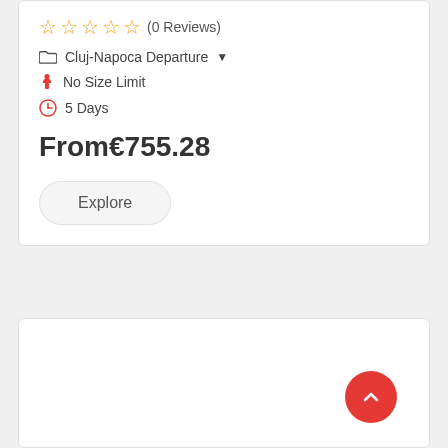☆☆☆☆☆ (0 Reviews)
Cluj-Napoca Departure
No Size Limit
5 Days
From€755.28
Explore
[Figure (screenshot): Empty white card section at bottom of page with red circular back-to-top button in bottom right corner]